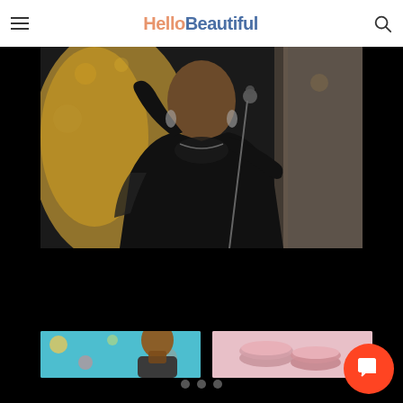HelloBeautiful
[Figure (photo): A woman in a black outfit on stage, raising one hand near a microphone. She wears chandelier earrings and a chain necklace. Background has golden bokeh lights.]
[Figure (photo): Thumbnail image on left showing a woman against a teal/colorful background.]
[Figure (photo): Thumbnail image on right showing makeup/beauty products on a pink background.]